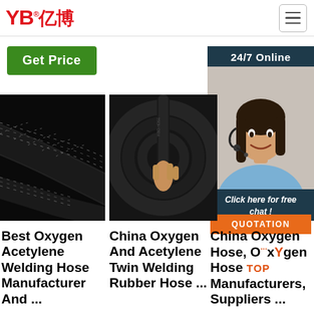[Figure (logo): YB亿博 company logo in red]
[Figure (other): Hamburger menu icon button]
Get Price
24/7 Online
[Figure (photo): Customer service woman with headset smiling]
Click here for free chat !
QUOTATION
[Figure (photo): Close-up of black braided oxygen acetylene welding hose]
[Figure (photo): Hand holding black rubber hose coils - oxygen acetylene twin welding hose]
Best Oxygen Acetylene Welding Hose Manufacturer And ...
China Oxygen And Acetylene Twin Welding Rubber Hose ...
China Oxygen Hose, Oxygen Hose Manufacturers, Suppliers ...